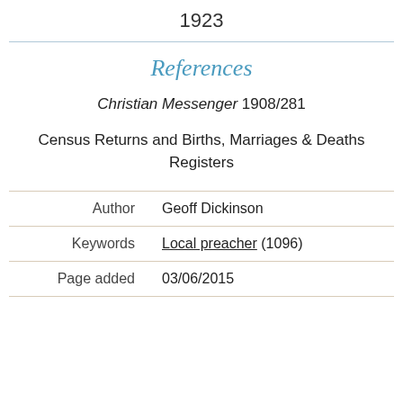1923
References
Christian Messenger 1908/281
Census Returns and Births, Marriages & Deaths Registers
| Author | Geoff Dickinson |
| Keywords | Local preacher (1096) |
| Page added | 03/06/2015 |